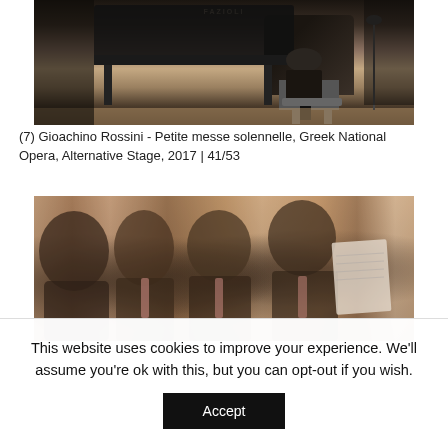[Figure (photo): A person seated at a Fazioli grand piano on a concert stage, viewed from the side. The piano is black and prominent in the foreground. The stage has a wooden floor and microphone stands in the background.]
(7) Gioachino Rossini - Petite messe solennelle, Greek National Opera, Alternative Stage, 2017 | 41/53
[Figure (photo): A row of men in dark suits with pink ties, photographed from the side, appearing to sing or perform. They are holding sheet music. The image is slightly blurred with a warm, brownish tone.]
This website uses cookies to improve your experience. We'll assume you're ok with this, but you can opt-out if you wish.